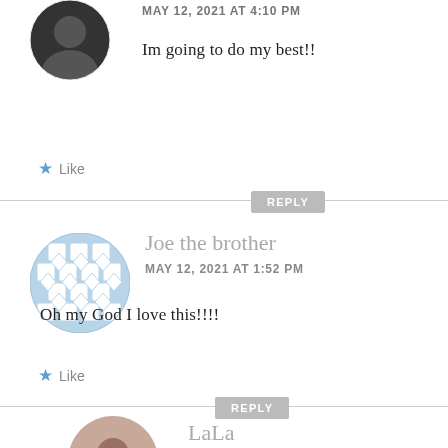[Figure (photo): Circular avatar photo of a person at top of page (partially cropped)]
Im going to do my best!!
★ Like
REPLY
[Figure (illustration): Circular avatar with blue geometric/quilt pattern for Joe the brother]
Joe the brother
MAY 12, 2021 AT 1:52 PM
Oh my God I love this!!!!
★ Like
REPLY
[Figure (photo): Circular avatar photo of a person (partially cropped at bottom)]
LaLa